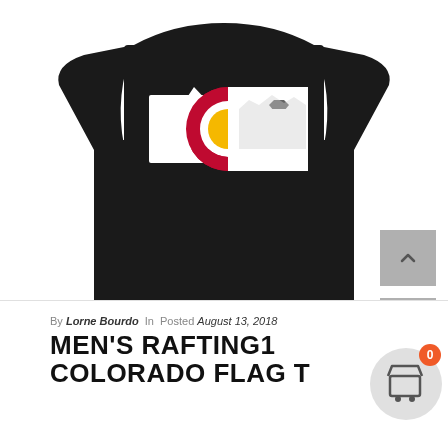[Figure (photo): Black t-shirt with Colorado flag design featuring a mountain silhouette and the Colorado 'C' logo in red and gold on a white stripe background]
By Lorne Bourdo In Posted August 13, 2018
MEN'S RAFTING1 COLORADO FLAG T